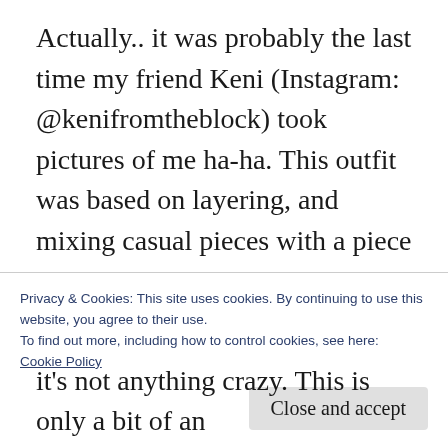Actually.. it was probably the last time my friend Keni (Instagram: @kenifromtheblock) took pictures of me ha-ha. This outfit was based on layering, and mixing casual pieces with a piece that would be considered more formal. This printed drape-y vest was something I got on sale at Topshop last year and I always considered it as kind of a more dressier piece. To layer and make this vest look more casual, I added jeans, a distressed t-shirt, sneakers, and a leather
Privacy & Cookies: This site uses cookies. By continuing to use this website, you agree to their use.
To find out more, including how to control cookies, see here: Cookie Policy
it's not anything crazy. This is only a bit of an